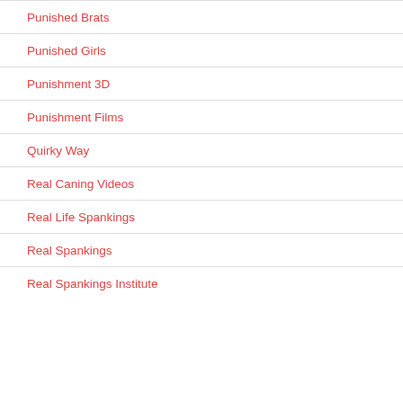Punished Brats
Punished Girls
Punishment 3D
Punishment Films
Quirky Way
Real Caning Videos
Real Life Spankings
Real Spankings
Real Spankings Institute